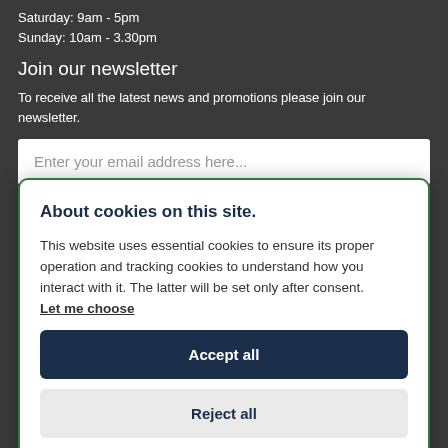Saturday: 9am - 5pm
Sunday: 10am - 3.30pm
Join our newsletter
To receive all the latest news and promotions please join our newsletter.
Enter your email address here...
About cookies on this site.
This website uses essential cookies to ensure its proper operation and tracking cookies to understand how you interact with it. The latter will be set only after consent. Let me choose
Accept all
Reject all